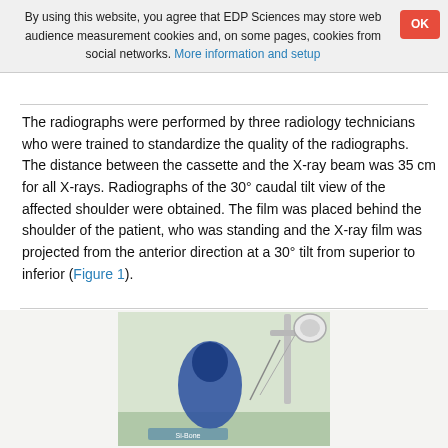By using this website, you agree that EDP Sciences may store web audience measurement cookies and, on some pages, cookies from social networks. More information and setup
The radiographs were performed by three radiology technicians who were trained to standardize the quality of the radiographs. The distance between the cassette and the X-ray beam was 35 cm for all X-rays. Radiographs of the 30° caudal tilt view of the affected shoulder were obtained. The film was placed behind the shoulder of the patient, who was standing and the X-ray film was projected from the anterior direction at a 30° tilt from superior to inferior (Figure 1).
[Figure (photo): A photograph showing a patient standing, with an X-ray cassette placed behind the shoulder and X-ray equipment visible. A blue oval shape (representing the shoulder) and medical imaging equipment are visible.]